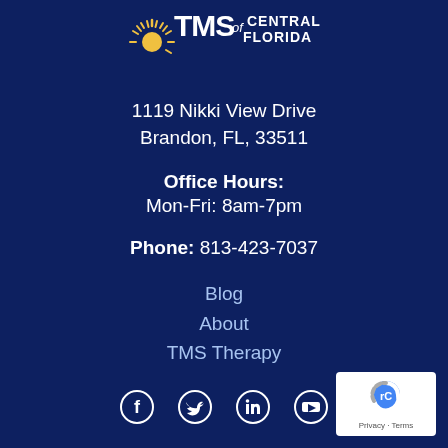[Figure (logo): TMS of Central Florida logo with sunburst icon, white and gold text on dark blue background]
1119 Nikki View Drive
Brandon, FL, 33511
Office Hours:
Mon-Fri: 8am-7pm
Phone: 813-423-7037
Blog
About
TMS Therapy
[Figure (other): Social media icons: Facebook, Twitter, LinkedIn, YouTube]
[Figure (other): reCAPTCHA badge with Privacy - Terms text]